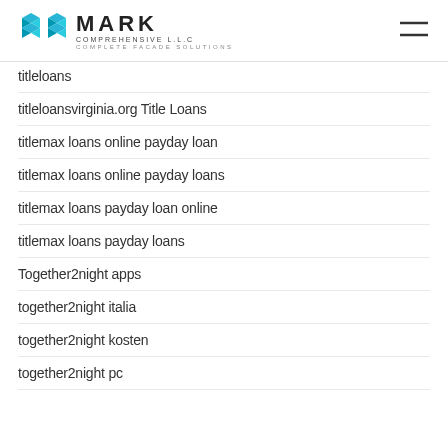MARK COMPREHENSIVE L.L.C — COMPLETE FACADE SOLUTIONS
titleloans
titleloansvirginia.org Title Loans
titlemax loans online payday loan
titlemax loans online payday loans
titlemax loans payday loan online
titlemax loans payday loans
Together2night apps
together2night italia
together2night kosten
together2night pc